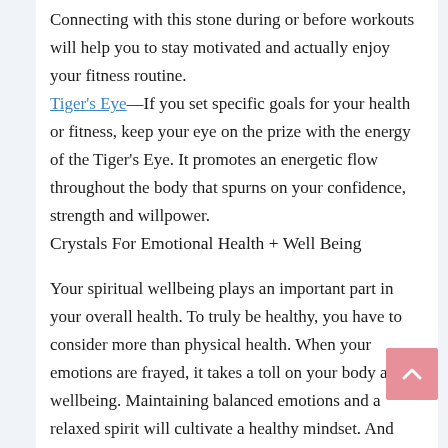Connecting with this stone during or before workouts will help you to stay motivated and actually enjoy your fitness routine. Tiger's Eye—If you set specific goals for your health or fitness, keep your eye on the prize with the energy of the Tiger's Eye. It promotes an energetic flow throughout the body that spurns on your confidence, strength and willpower.
Crystals For Emotional Health + Well Being
Your spiritual wellbeing plays an important part in your overall health. To truly be healthy, you have to consider more than physical health. When your emotions are frayed, it takes a toll on your body and wellbeing. Maintaining balanced emotions and a relaxed spirit will cultivate a healthy mindset. And when you have that, you can transform every...